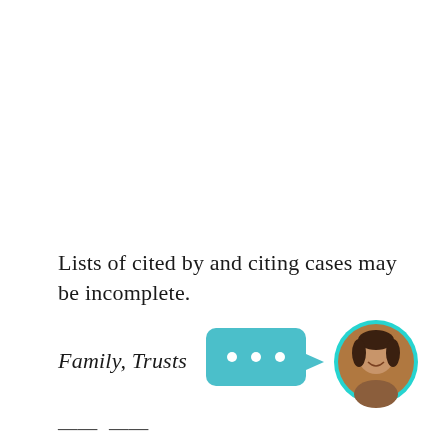Lists of cited by and citing cases may be incomplete.
Family, Trusts
...
[Figure (illustration): A teal/cyan speech bubble with three dots (ellipsis) indicating chat, and a circular avatar photo of a smiling woman with dark hair, framed by a teal circular border.]